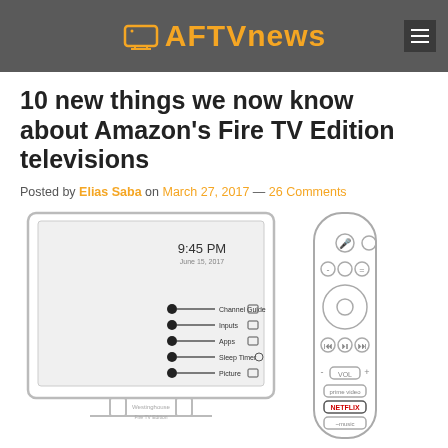AFTVnews
10 new things we now know about Amazon's Fire TV Edition televisions
Posted by Elias Saba on March 27, 2017 — 26 Comments
[Figure (illustration): Illustration of an Amazon Fire TV Edition television showing a menu screen with options: Channel Guide, Inputs, Apps, Sleep Timer, Picture, Sound — alongside a Fire TV remote control.]